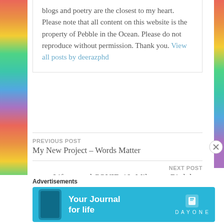blogs and poetry are the closest to my heart. Please note that all content on this website is the property of Pebble in the Ocean. Please do not reproduce without permission. Thank you. View all posts by deerazphd
PREVIOUS POST
My New Project – Words Matter
NEXT POST
Life around COVID-19: Milestone Birthdays
Advertisements
[Figure (other): Day One app advertisement banner with cyan/blue background showing phone image and text 'Your Journal for life' with Day One logo]